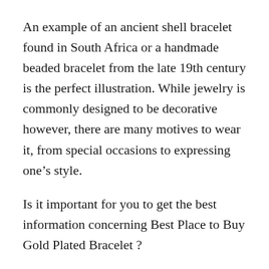An example of an ancient shell bracelet found in South Africa or a handmade beaded bracelet from the late 19th century is the perfect illustration. While jewelry is commonly designed to be decorative however, there are many motives to wear it, from special occasions to expressing one's style.
Is it important for you to get the best information concerning Best Place to Buy Gold Plated Bracelet ?
Do you wish to get information concerning Best Place to Buy Gold Plated Bracelet?
The word “jewelry” is derived to the French word jewel, that was anglicized from Latin word jocale. It translates to “plaything”. To be precise, in American as well as British English, the word is written “jewelry”